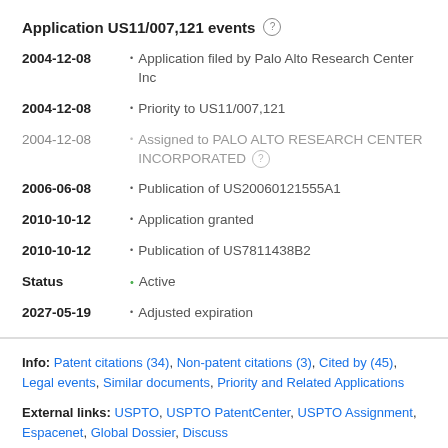Application US11/007,121 events
2004-12-08 • Application filed by Palo Alto Research Center Inc
2004-12-08 • Priority to US11/007,121
2004-12-08 • Assigned to PALO ALTO RESEARCH CENTER INCORPORATED
2006-06-08 • Publication of US20060121555A1
2010-10-12 • Application granted
2010-10-12 • Publication of US7811438B2
Status • Active
2027-05-19 • Adjusted expiration
Info: Patent citations (34), Non-patent citations (3), Cited by (45), Legal events, Similar documents, Priority and Related Applications
External links: USPTO, USPTO PatentCenter, USPTO Assignment, Espacenet, Global Dossier, Discuss